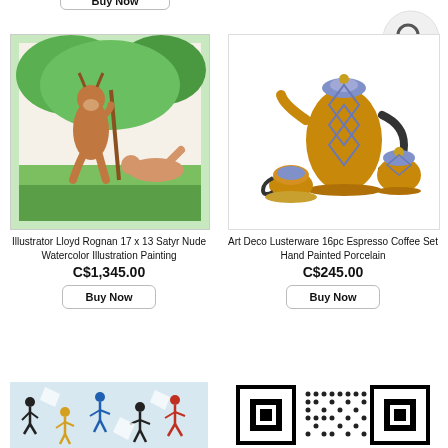[Figure (screenshot): Partial 'Buy Now' button at top left, cropped from previous listing]
[Figure (illustration): Search icon (magnifying glass) in upper right corner]
[Figure (photo): Watercolor illustration painting of a satyr (horned figure with staff) and a nude reclining figure, by Lloyd Rognan]
Illustrator Lloyd Rognan 17 x 13 Satyr Nude Watercolor Illustration Painting
C$1,345.00
Buy Now
[Figure (photo): Art Deco Lusterware 16pc Espresso Coffee Set - gold and purple/blue porcelain with decorative geometric patterns, showing teapot, cups, and sugar bowl]
Art Deco Lusterware 16pc Espresso Coffee Set Hand Painted Porcelain
C$245.00
Buy Now
[Figure (photo): Colorful artwork showing stylized dancing figures silhouettes on light blue/white background]
[Figure (other): QR code partially visible at bottom right]